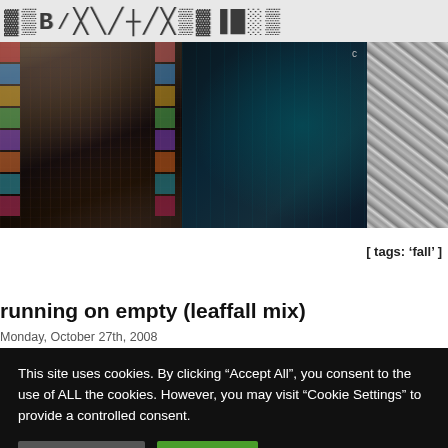CYBEXANIMALIA (stylized logo/header banner)
[Figure (photo): Three-panel photo strip: left panel shows a colorful corridor of album covers receding to a vanishing point; center panel shows a dark teal digital/projected image of a room; right panel shows a black-and-white crinkled metallic texture.]
[ tags: ‘fall’ ]
running on empty (leaffall mix)
Monday, October 27th, 2008
This site uses cookies. By clicking “Accept All”, you consent to the use of ALL the cookies. However, you may visit “Cookie Settings” to provide a controlled consent.
Cookie Settings   Accept All